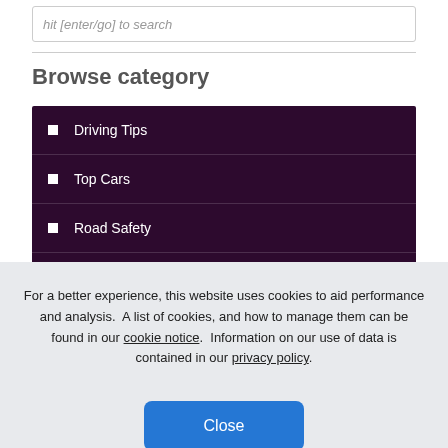hit [enter/go] to search
Browse category
Driving Tips
Top Cars
Road Safety
Rules of the Road
For a better experience, this website uses cookies to aid performance and analysis.  A list of cookies, and how to manage them can be found in our cookie notice.  Information on our use of data is contained in our privacy policy.
Close